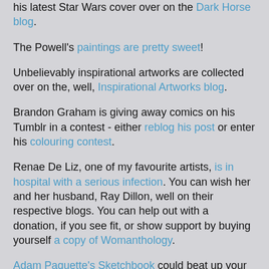his latest Star Wars cover over on the Dark Horse blog.
The Powell's paintings are pretty sweet!
Unbelievably inspirational artworks are collected over on the, well, Inspirational Artworks blog.
Brandon Graham is giving away comics on his Tumblr in a contest - either reblog his post or enter his colouring contest.
Renae De Liz, one of my favourite artists, is in hospital with a serious infection. You can wish her and her husband, Ray Dillon, well on their respective blogs. You can help out with a donation, if you see fit, or show support by buying yourself a copy of Womanthology.
Adam Paquette's Sketchbook could beat up your sketchbook.
These old Pulp Novel Covers are crazy misogynistic, but they're pretty enjoyable.